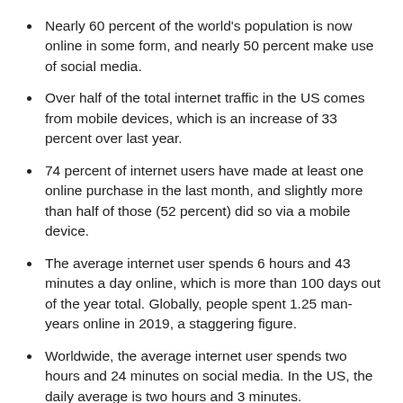Nearly 60 percent of the world's population is now online in some form, and nearly 50 percent make use of social media.
Over half of the total internet traffic in the US comes from mobile devices, which is an increase of 33 percent over last year.
74 percent of internet users have made at least one online purchase in the last month, and slightly more than half of those (52 percent) did so via a mobile device.
The average internet user spends 6 hours and 43 minutes a day online, which is more than 100 days out of the year total. Globally, people spent 1.25 man-years online in 2019, a staggering figure.
Worldwide, the average internet user spends two hours and 24 minutes on social media. In the US, the daily average is two hours and 3 minutes.
Finally, the US and UK lead the world in terms of